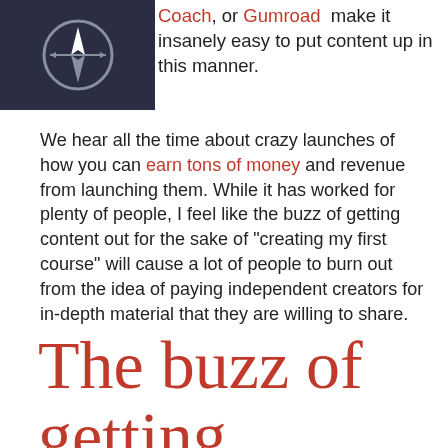Coach, or Gumroad make it insanely easy to put content up in this manner.
We hear all the time about crazy launches of how you can earn tons of money and revenue from launching them. While it has worked for plenty of people, I feel like the buzz of getting content out for the sake of “creating my first course” will cause a lot of people to burn out from the idea of paying independent creators for in-depth material that they are willing to share.
The buzz of getting content